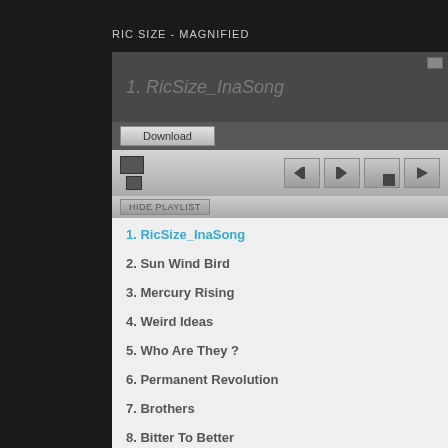RIC SIZE - MAGNIFIED
[Figure (screenshot): Music player widget showing track 1. RicSize_InaSong playing, with Download button, playback controls (prev, next, stop, play), Hide Playlist button, and a playlist of 10 tracks.]
1. RicSize_InaSong
2. Sun Wind Bird
3. Mercury Rising
4. Weird Ideas
5. Who Are They ?
6. Permanent Revolution
7. Brothers
8. Bitter To Better
9. Sugarcoat
10. You Are My Brother